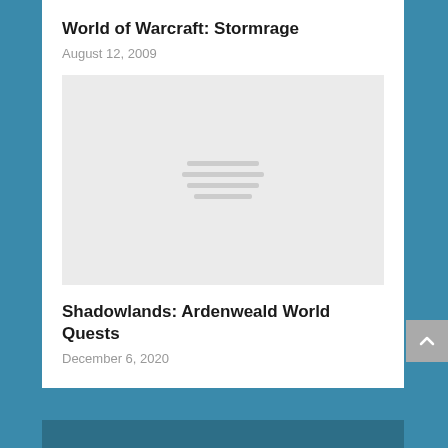World of Warcraft: Stormrage
August 12, 2009
[Figure (illustration): Placeholder image with four centered horizontal gray lines on a light gray background]
Shadowlands: Ardenweald World Quests
December 6, 2020